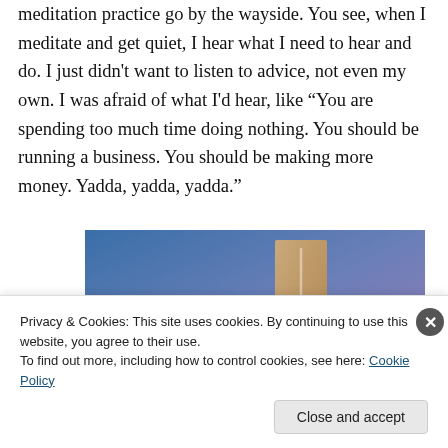meditation practice go by the wayside. You see, when I meditate and get quiet, I hear what I need to hear and do. I just didn't want to listen to advice, not even my own. I was afraid of what I'd hear, like “You are spending too much time doing nothing. You should be running a business. You should be making more money. Yadda, yadda, yadda.”
[Figure (photo): Abstract gradient image with blue and purple tones, featuring a vertical tan/beige rectangular shape in the center-right area against the gradient background.]
Privacy & Cookies: This site uses cookies. By continuing to use this website, you agree to their use.
To find out more, including how to control cookies, see here: Cookie Policy
Close and accept